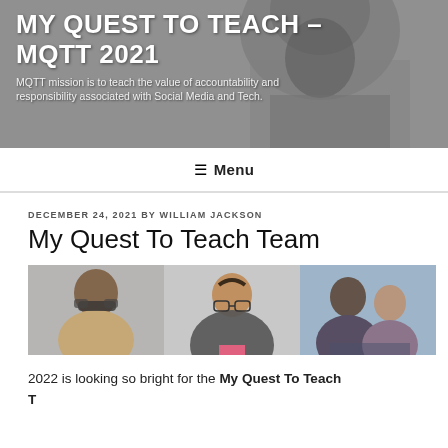MY QUEST TO TEACH – MQTT 2021
MQTT mission is to teach the value of accountability and responsibility associated with Social Media and Tech.
☰ Menu
DECEMBER 24, 2021 BY WILLIAM JACKSON
My Quest To Teach Team
[Figure (photo): Three photos side by side: a young man with sunglasses, a young woman with glasses and pink top, and two people (a man and a woman) smiling together outdoors.]
2022 is looking so bright for the My Quest To Teach Team